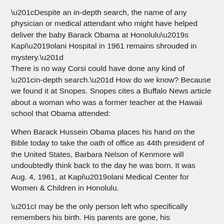“Despite an in-depth search, the name of any physician or medical attendant who might have helped deliver the baby Barack Obama at Honolulu’s Kapi’olani Hospital in 1961 remains shrouded in mystery.”
There is no way Corsi could have done any kind of “in-depth search.” How do we know? Because we found it at Snopes. Snopes cites a Buffalo News article about a woman who was a former teacher at the Hawaii school that Obama attended:
When Barack Hussein Obama places his hand on the Bible today to take the oath of office as 44th president of the United States, Barbara Nelson of Kenmore will undoubtedly think back to the day he was born. It was Aug. 4, 1961, at Kapi’olani Medical Center for Women & Children in Honolulu.
“I may be the only person left who specifically remembers his birth. His parents are gone, his grandmother is gone, the obstetrician who delivered him is gone,” said Nelson, referring to Dr. Rodney T. West, who died in February at the age of 98. Here’s the story: Nelson was having dinner at the Outrigger Canoe Club on Waikiki Beach with Dr. West, the father of her college friend, Jo-Anne. Making conversation,